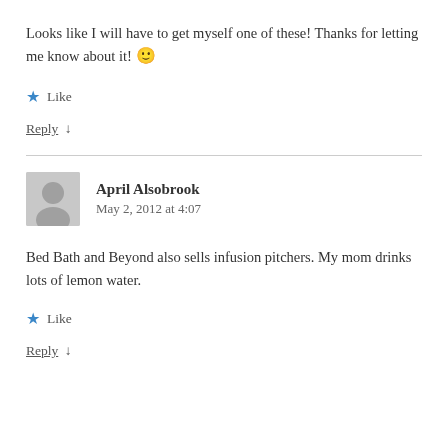Looks like I will have to get myself one of these! Thanks for letting me know about it! 🙂
★ Like
Reply ↓
April Alsobrook
May 2, 2012 at 4:07
Bed Bath and Beyond also sells infusion pitchers. My mom drinks lots of lemon water.
★ Like
Reply ↓